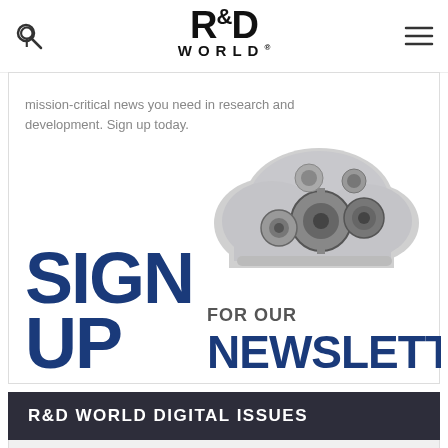R&D WORLD
mission-critical news you need in research and development. Sign up today.
[Figure (illustration): Sign Up for Our Newsletter banner with large blue bold text 'SIGN UP FOR OUR NEWSLETTER' and a mechanical gears cloud illustration]
R&D WORLD DIGITAL ISSUES